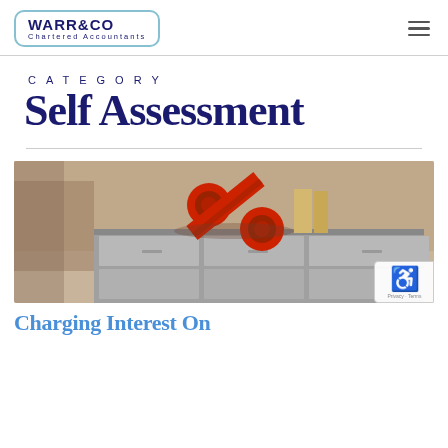WARR&CO Chartered Accountants
CATEGORY
Self Assessment
[Figure (photo): 3D red percentage sign on top of file cabinets, sepia/neutral office background]
Charging Interest On